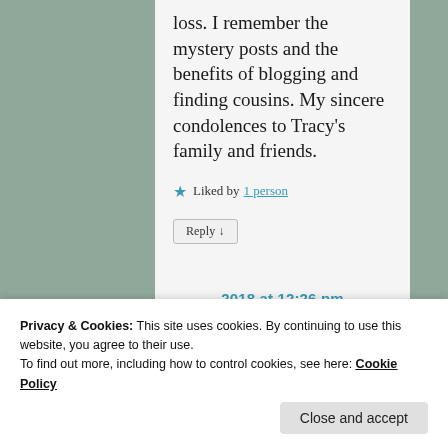loss. I remember the mystery posts and the benefits of blogging and finding cousins. My sincere condolences to Tracy’s family and friends.
★ Liked by 1 person
Reply ↓
Privacy & Cookies: This site uses cookies. By continuing to use this website, you agree to their use.
To find out more, including how to control cookies, see here: Cookie Policy
Close and accept
2018 at 12:26 pm